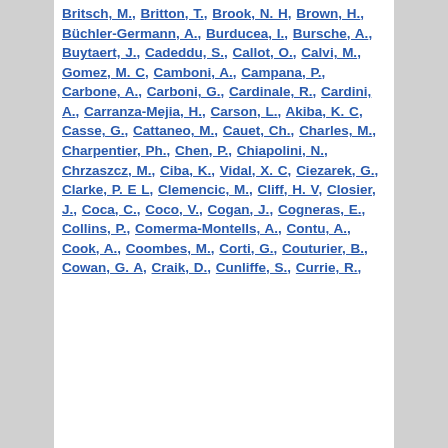Britsch, M., Britton, T., Brook, N. H, Brown, H., Büchler-Germann, A., Burducea, I., Bursche, A., Buytaert, J., Cadeddu, S., Callot, O., Calvi, M., Gomez, M. C, Camboni, A., Campana, P., Carbone, A., Carboni, G., Cardinale, R., Cardini, A., Carranza-Mejia, H., Carson, L., Akiba, K. C, Casse, G., Cattaneo, M., Cauet, Ch., Charles, M., Charpentier, Ph., Chen, P., Chiapolini, N., Chrzaszcz, M., Ciba, K., Vidal, X. C, Ciezarek, G., Clarke, P. E L, Clemencic, M., Cliff, H. V, Closier, J., Coca, C., Coco, V., Cogan, J., Cogneras, E., Collins, P., Comerma-Montells, A., Contu, A., Cook, A., Coombes, M., Corti, G., Couturier, B., Cowan, G. A, Craik, D., Cunliffe, S., Currie, R.,